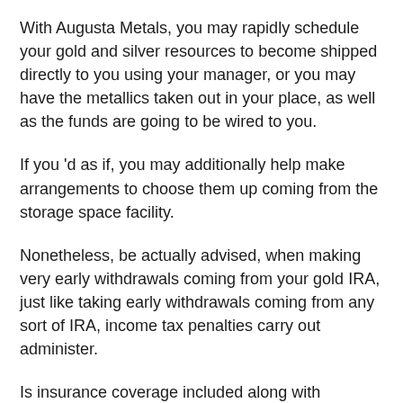With Augusta Metals, you may rapidly schedule your gold and silver resources to become shipped directly to you using your manager, or you may have the metallics taken out in your place, as well as the funds are going to be wired to you.
If you 'd as if, you may additionally help make arrangements to choose them up coming from the storage space facility.
Nonetheless, be actually advised, when making very early withdrawals coming from your gold IRA, just like taking early withdrawals coming from any sort of IRA, income tax penalties carry out administer.
Is insurance coverage included along with